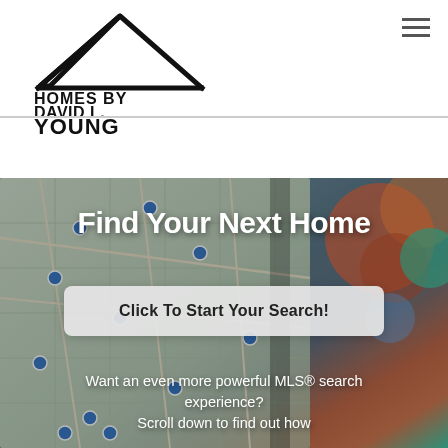[Figure (logo): Homes by David L. Young logo — house outline above text HOMES BY DAVID L. YOUNG in bold sans-serif]
Find Your Next Home
Click To Start Your Search!
[Figure (photo): Background photo of a map on a tablet screen with colorful bokeh lights in the background]
Want an even more powerful MLS® search experience?
Scroll down to find out how